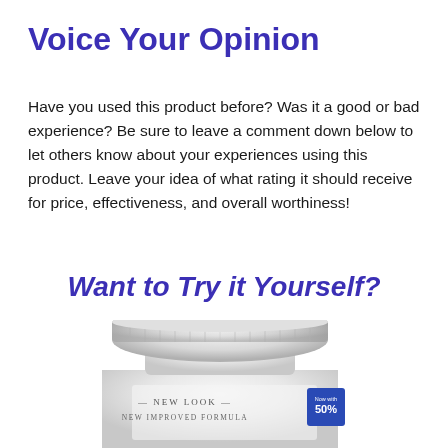Voice Your Opinion
Have you used this product before? Was it a good or bad experience? Be sure to leave a comment down below to let others know about your experiences using this product. Leave your idea of what rating it should receive for price, effectiveness, and overall worthiness!
Want to Try it Yourself?
[Figure (photo): White supplement/vitamin bottle with ribbed cap, partially visible label reading NEW LOOK — NEW IMPROVED FORMULA, with a blue badge showing 50%]